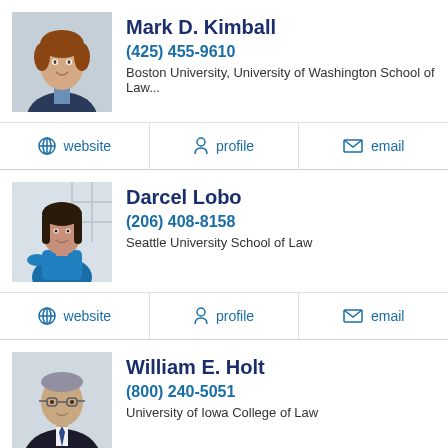Mark D. Kimball
(425) 455-9610
Boston University, University of Washington School of Law...
website | profile | email
Darcel Lobo
(206) 408-8158
Seattle University School of Law
website | profile | email
William E. Holt
(800) 240-5051
University of Iowa College of Law
website | profile | email